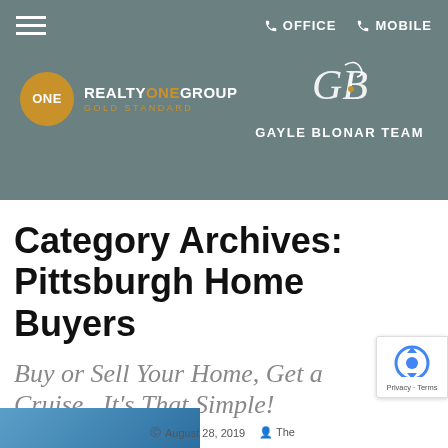OFFICE  MOBILE
[Figure (logo): Realty One Group Gold Standard logo with golden circle and white text]
[Figure (logo): Gayle Blonar Team logo with stylized GB monogram in white on teal background]
Category Archives: Pittsburgh Home Buyers
Buy or Sell Your Home, Get a Cruise...It's That Simple!
August 28, 2019  The